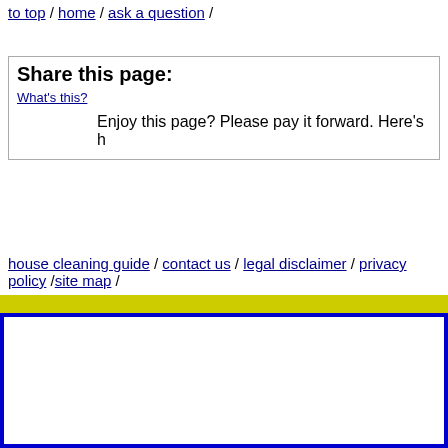to top / home / ask a question /
Share this page:
What's this?
Enjoy this page? Please pay it forward. Here's h
house cleaning guide / contact us / legal disclaimer / privacy policy / site map /
Copyright 2
No Reproductio
www.Ultimate